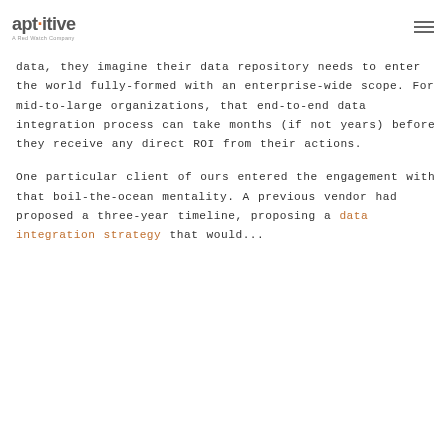aptitive — A Red Watch Company | navigation menu
data, they imagine their data repository needs to enter the world fully-formed with an enterprise-wide scope. For mid-to-large organizations, that end-to-end data integration process can take months (if not years) before they receive any direct ROI from their actions.
One particular client of ours entered the engagement with that boil-the-ocean mentality. A previous vendor had proposed a three-year timeline, proposing a data integration strategy that would...